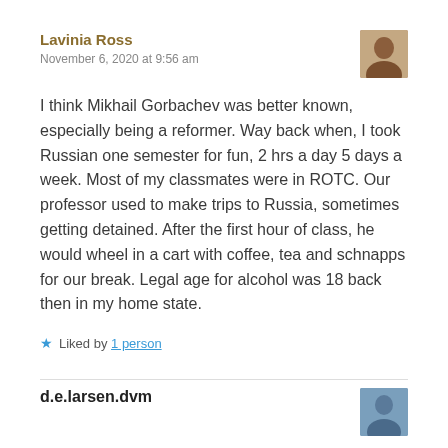Lavinia Ross
November 6, 2020 at 9:56 am
I think Mikhail Gorbachev was better known, especially being a reformer. Way back when, I took Russian one semester for fun, 2 hrs a day 5 days a week. Most of my classmates were in ROTC. Our professor used to make trips to Russia, sometimes getting detained. After the first hour of class, he would wheel in a cart with coffee, tea and schnapps for our break. Legal age for alcohol was 18 back then in my home state.
Liked by 1 person
d.e.larsen.dvm